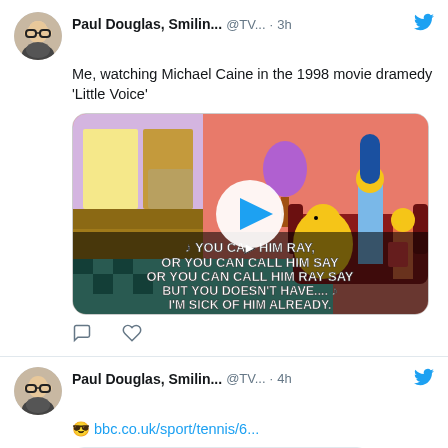Paul Douglas, Smilin... @TV... · 3h
Me, watching Michael Caine in the 1998 movie dramedy 'Little Voice'
[Figure (screenshot): A Simpsons animated scene showing Homer, Marge and Lisa in a living room with subtitles: '♪ YOU CA... HIM RAY, OR YOU CAN CALL HIM SAY OR YOU CAN CALL HIM RAY SAY BUT YOU DOESN'T HAVE.... ♪ I'M SICK OF HIM ALREADY.' A blue play button circle is overlaid in the center.]
Paul Douglas, Smilin... @TV... · 4h
😎 bbc.co.uk/sport/tennis/6...
[Figure (screenshot): Bottom partial screenshot showing bbc.co.uk preview card]